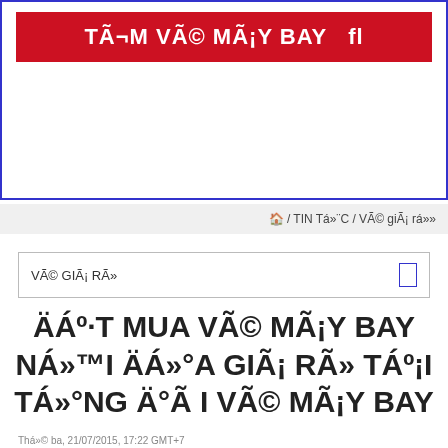[Figure (logo): Red banner with white bold text 'TÃ¬M VÃ© MÃ¡Y BAY fl' inside a blue-bordered white box]
🏠 / TIN Tá»¨C / Vã© giÃ¡ rá»»
VÃ© GIÃ¡ RÃ»
ÄÁº·T MUA VÃ© MÃ¡Y BAY NÁ»™I ÄÁ»°A GIÃ¡ RÃ» TÁº¡I TÁ»°NG Ä°Ã I VÃ© MÃ¡Y BAY
Thá»© ba, 21/07/2015, 17:22 GMT+7